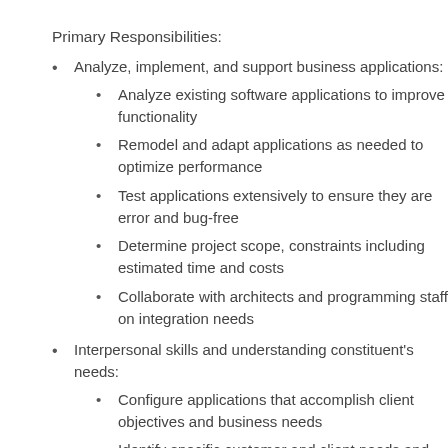Primary Responsibilities:
Analyze, implement, and support business applications:
Analyze existing software applications to improve functionality
Remodel and adapt applications as needed to optimize performance
Test applications extensively to ensure they are error and bug-free
Determine project scope, constraints including estimated time and costs
Collaborate with architects and programming staff on integration needs
Interpersonal skills and understanding constituent's needs:
Configure applications that accomplish client objectives and business needs
Identify specific customer and client needs and preferences related to applications